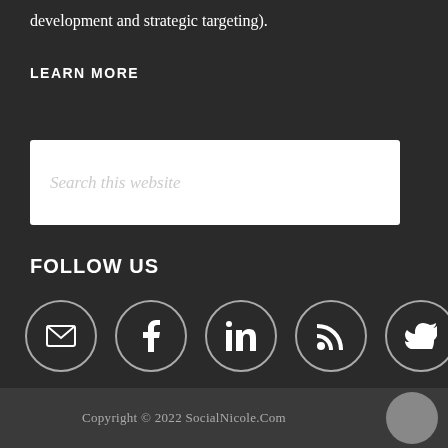development and strategic targeting).
LEARN MORE
[Figure (other): Search box with placeholder text 'Search this website']
FOLLOW US
[Figure (other): Row of five social media icon circles: email, Facebook, LinkedIn, RSS, Twitter]
Copyright © 2022 SocialNicole.Com